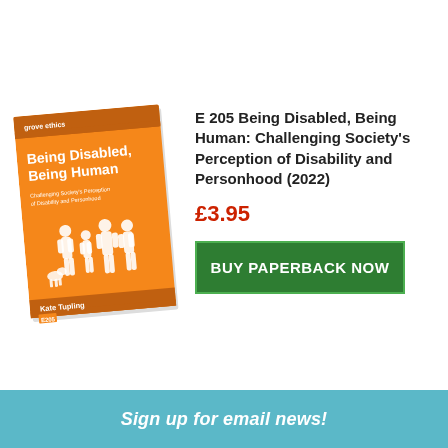[Figure (illustration): Book cover of 'Being Disabled, Being Human: Challenging Society's Perception of Disability and Personhood' by Kate Tupling. Orange cover with white silhouettes of people, Grove Ethics series.]
E 205 Being Disabled, Being Human: Challenging Society's Perception of Disability and Personhood (2022)
£3.95
BUY PAPERBACK NOW
Sign up for email news!